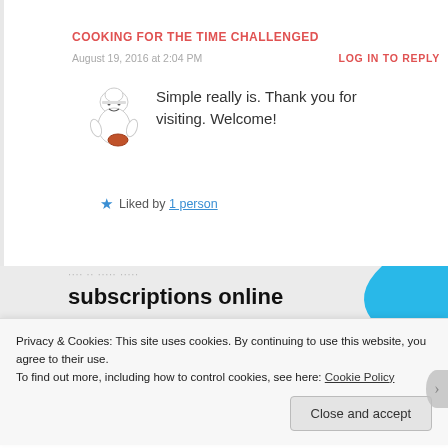COOKING FOR THE TIME CHALLENGED
August 19, 2016 at 2:04 PM
LOG IN TO REPLY
Simple really is. Thank you for visiting. Welcome!
Liked by 1 person
[Figure (illustration): Chef cartoon avatar illustration holding a bowl]
subscriptions online
Privacy & Cookies: This site uses cookies. By continuing to use this website, you agree to their use.
To find out more, including how to control cookies, see here: Cookie Policy
Close and accept